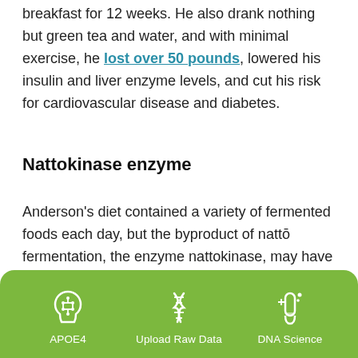breakfast for 12 weeks. He also drank nothing but green tea and water, and with minimal exercise, he lost over 50 pounds, lowered his insulin and liver enzyme levels, and cut his risk for cardiovascular disease and diabetes.
Nattokinase enzyme
Anderson's diet contained a variety of fermented foods each day, but the byproduct of nattō fermentation, the enzyme nattokinase, may have had a big effect on his results. Nattokinase has been shown to reduce blood pressure, while our typical Western diet and lifestyle is associated with higher blood pressure and cardiovascular risk. 1 One study also showed that habitual intake of
[Figure (infographic): Green navigation bar with three icons: APOE4 (brain circuit icon), Upload Raw Data (DNA helix icon), DNA Science (test tube icon)]